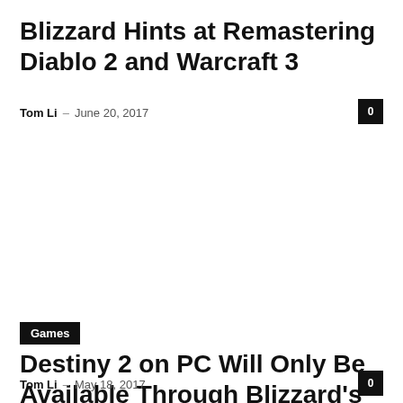Blizzard Hints at Remastering Diablo 2 and Warcraft 3
Tom Li – June 20, 2017
0
Games
Destiny 2 on PC Will Only Be Available Through Blizzard's Battlenet
Tom Li – May 18, 2017
0